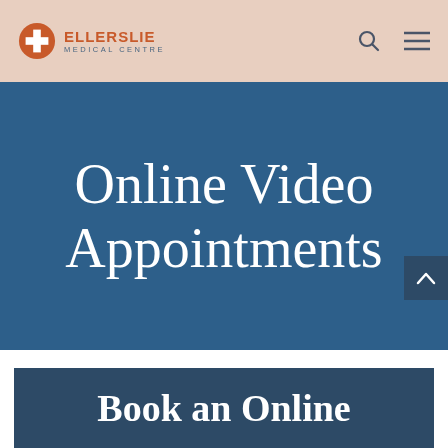[Figure (logo): Ellerslie Medical Centre logo with orange cross icon and text]
Online Video Appointments
Book an Online